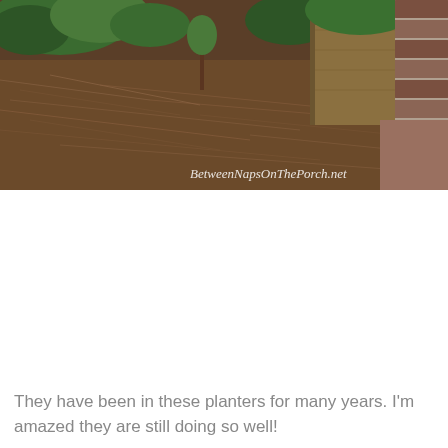[Figure (photo): Outdoor garden scene showing pine straw mulch on the ground with green shrubs and a wooden planter box against a brick wall. A watermark reads 'BetweenNapsOnThePorch.net' in white text at the bottom right of the image.]
They have been in these planters for many years. I'm amazed they are still doing so well!